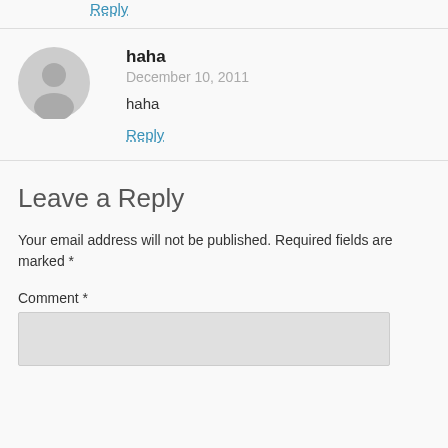Reply
haha
December 10, 2011
haha
Reply
Leave a Reply
Your email address will not be published. Required fields are marked *
Comment *